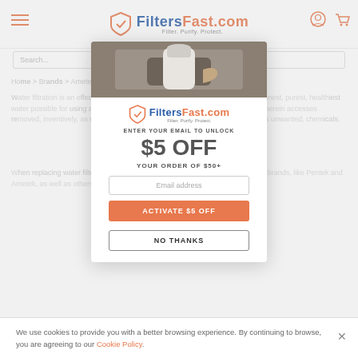FiltersFast.com — Filter. Purify. Protect.
Home > Brands > Ametek / Pentek / US Filter
Ametek / Pentek Filter Product List
Water filtration is an effective way to make sure that you are contributing the cleanest, purest, healthiest water possible for using a thorough and whole flow of a virtually endless supply, therein accesses removed, inventive, as well as otherwise sedimented and administrated, well as unwanted, chemicals.
When replacing water filters, always follow manufacturer guidelines from trusted brands like Pentek and Ametek, as well as others today.
[Figure (screenshot): FiltersFast.com popup modal offering $5 off an order of $50+ when entering an email address. Contains product image at top, FiltersFast.com logo, 'ENTER YOUR EMAIL TO UNLOCK' text, '$5 OFF' in large text, 'YOUR ORDER OF $50+' text, an email address input field, 'ACTIVATE $5 OFF' orange button, and 'NO THANKS' outlined button.]
We use cookies to provide you with a better browsing experience. By continuing to browse, you are agreeing to our Cookie Policy.